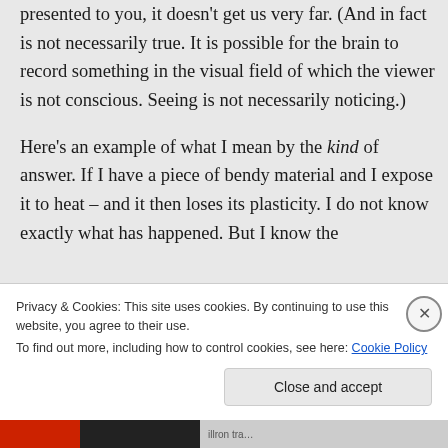presented to you, it doesn't get us very far. (And in fact is not necessarily true. It is possible for the brain to record something in the visual field of which the viewer is not conscious. Seeing is not necessarily noticing.)
Here's an example of what I mean by the kind of answer. If I have a piece of bendy material and I expose it to heat – and it then loses its plasticity. I do not know exactly what has happened. But I know the
Privacy & Cookies: This site uses cookies. By continuing to use this website, you agree to their use.
To find out more, including how to control cookies, see here: Cookie Policy
Close and accept